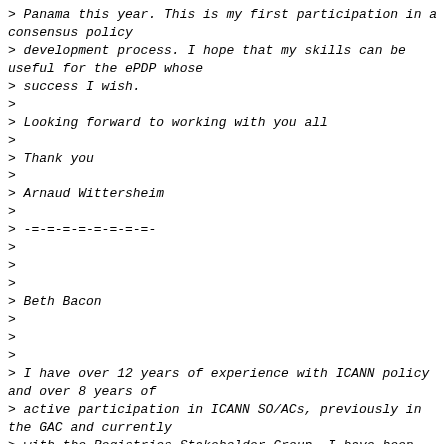> Panama this year. This is my first participation in a consensus policy
> development process. I hope that my skills can be useful for the ePDP whose
> success I wish.
>
> Looking forward to working with you all
>
> Thank you
>
> Arnaud Wittersheim
>
> -=-=-=-=-=-=-=-=-
>
>
>
> Beth Bacon
>
>
>
> I have over 12 years of experience with ICANN policy and over 8 years of
> active participation in ICANN SO/ACs, previously in the GAC and currently
> with the Registries Stakeholder Group. I have been working on privacy
> issues for the past 5 years, first in the Department of Commerce and now at
> PIR as Director of Policy and Privacy.  Additionally, I have several years